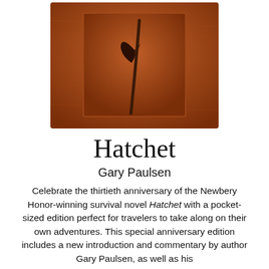[Figure (illustration): Book cover of Hatchet — a textured brown leather-like background with a hatchet depicted at center, framed by a lighter rectangular border]
Hatchet
Gary Paulsen
Celebrate the thirtieth anniversary of the Newbery Honor-winning survival novel Hatchet with a pocket-sized edition perfect for travelers to take along on their own adventures. This special anniversary edition includes a new introduction and commentary by author Gary Paulsen, as well as his...